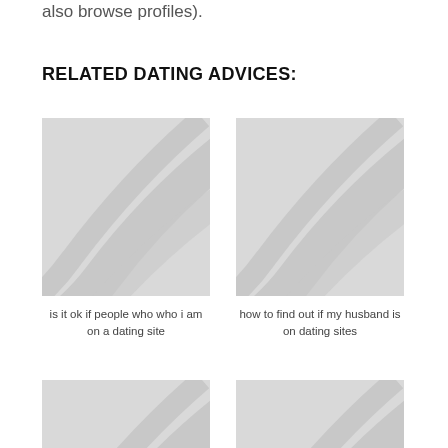also browse profiles).
RELATED DATING ADVICES:
[Figure (illustration): Placeholder image with grey swoosh pattern]
is it ok if people who who i am on a dating site
[Figure (illustration): Placeholder image with grey swoosh pattern]
how to find out if my husband is on dating sites
[Figure (illustration): Placeholder image with grey swoosh pattern]
[Figure (illustration): Placeholder image with grey swoosh pattern]